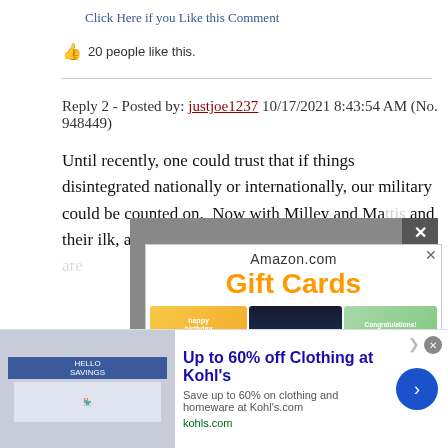Click Here if you Like this Comment
20 people like this.
Reply 2 - Posted by: justjoe1237 10/17/2021 8:43:54 AM (No. 948449)
Until recently, one could trust that if things disintegrated nationally or internationally, our military could be counted on. Now with Milley and Mattis and their ilk, all bets are off. C... at the contro...
[Figure (screenshot): Amazon.com Gift Cards popup overlay with close button (X), showing three gift card images: happy birthday, amazonkindle, and Congratulations]
Click H...
28 peo...
[Figure (screenshot): Bottom advertisement banner: Up to 60% off Clothing at Kohl's. Save up to 60% on clothing and homeware at Kohl's.com. kohls.com]